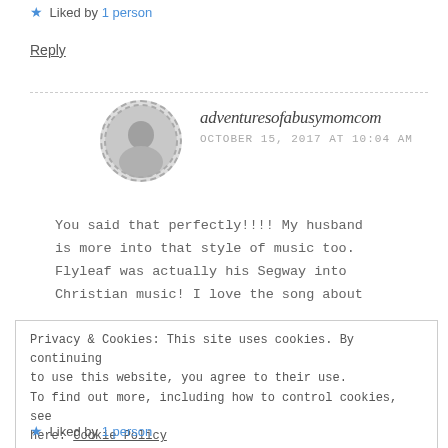★ Liked by 1 person
Reply
adventuresofabusymomcom
OCTOBER 15, 2017 AT 10:04 AM
You said that perfectly!!!! My husband is more into that style of music too. Flyleaf was actually his Segway into Christian music! I love the song about
Privacy & Cookies: This site uses cookies. By continuing to use this website, you agree to their use.
To find out more, including how to control cookies, see here: Cookie Policy
Close and accept
★ Liked by 1 person